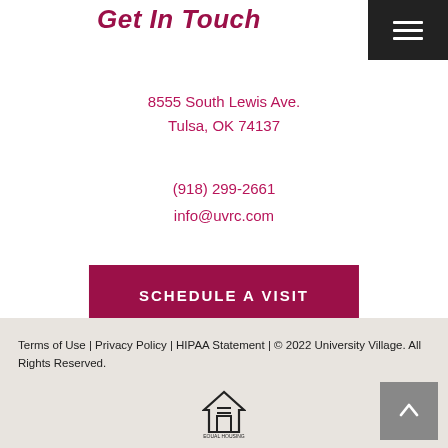Get In Touch
8555 South Lewis Ave.
Tulsa, OK 74137
(918) 299-2661
info@uvrc.com
SCHEDULE A VISIT
Terms of Use | Privacy Policy | HIPAA Statement | © 2022 University Village. All Rights Reserved.
[Figure (logo): Equal housing opportunity logo — house with equal sign]
[Figure (other): Back to top button with upward chevron/caret]
[Figure (other): Hamburger menu button (three horizontal lines) on dark background]